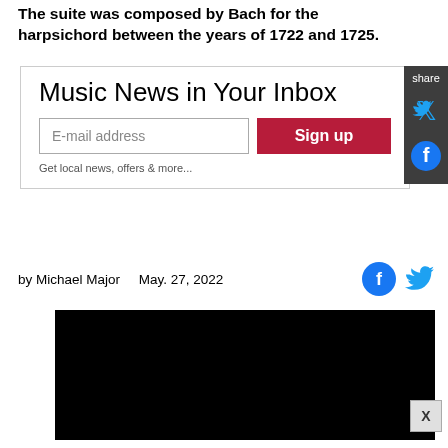The suite was composed by Bach for the harpsichord between the years of 1722 and 1725.
[Figure (screenshot): Newsletter signup widget with title 'Music News in Your Inbox', an email input field, and a red 'Sign up' button, with a note 'Get local news, offers & more...']
[Figure (screenshot): Share sidebar with Twitter and Facebook icons on dark grey background]
by Michael Major    May. 27, 2022
[Figure (screenshot): Social share icons: Facebook and Twitter]
[Figure (photo): Black video embed area]
[Figure (other): Close/dismiss X button]